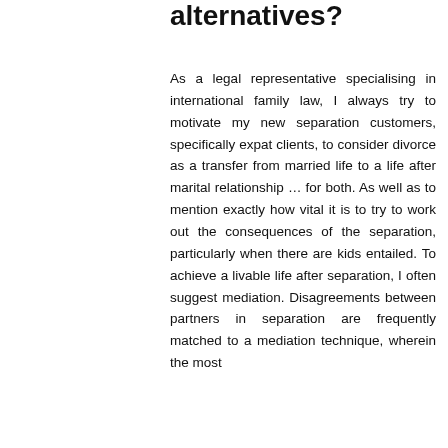alternatives?
As a legal representative specialising in international family law, I always try to motivate my new separation customers, specifically expat clients, to consider divorce as a transfer from married life to a life after marital relationship … for both. As well as to mention exactly how vital it is to try to work out the consequences of the separation, particularly when there are kids entailed. To achieve a livable life after separation, I often suggest mediation. Disagreements between partners in separation are frequently matched to a mediation technique, wherein the most